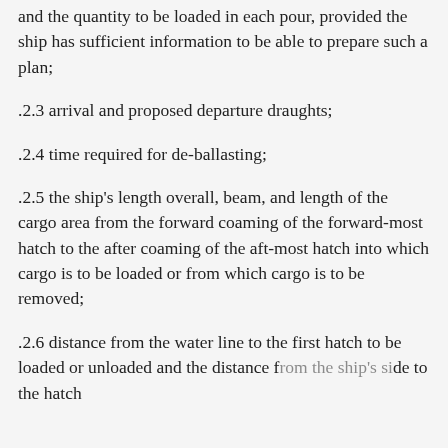and the quantity to be loaded in each pour, provided the ship has sufficient information to be able to prepare such a plan;
.2.3 arrival and proposed departure draughts;
.2.4 time required for de-ballasting;
.2.5 the ship's length overall, beam, and length of the cargo area from the forward coaming of the forward-most hatch to the after coaming of the aft-most hatch into which cargo is to be loaded or from which cargo is to be removed;
.2.6 distance from the water line to the first hatch to be loaded or unloaded and the distance from the ship's side to the hatch